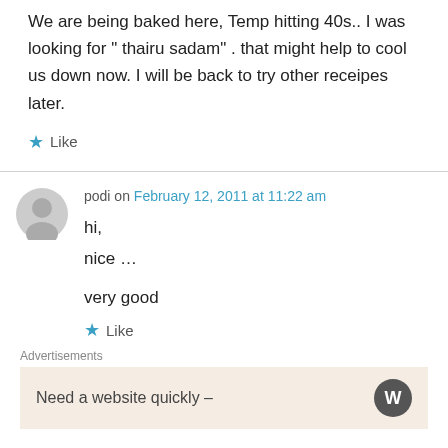We are being baked here, Temp hitting 40s.. I was looking for " thairu sadam" . that might help to cool us down now. I will be back to try other receipes later.
★ Like
podi on February 12, 2011 at 11:22 am
hi,
nice ...

very good
★ Like
Advertisements
Need a website quickly –